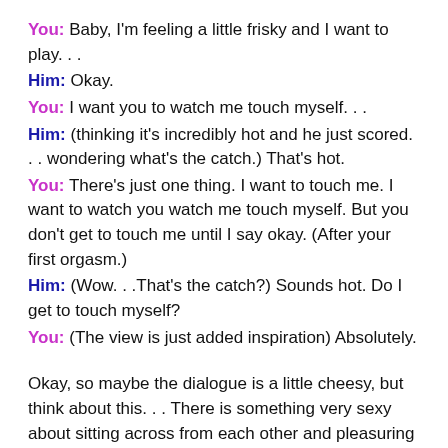You: Baby, I'm feeling a little frisky and I want to play. . .
Him: Okay.
You: I want you to watch me touch myself. . .
Him: (thinking it's incredibly hot and he just scored. . . wondering what's the catch.) That's hot.
You: There's just one thing. I want to touch me. I want to watch you watch me touch myself. But you don't get to touch me until I say okay. (After your first orgasm.)
Him: (Wow. . .That's the catch?) Sounds hot. Do I get to touch myself?
You: (The view is just added inspiration) Absolutely.
Okay, so maybe the dialogue is a little cheesy, but think about this. . . There is something very sexy about sitting across from each other and pleasuring yourselves. Looking into each others eyes builds intimacy. Watching each other touch yourselves does something else. If you pay close attention, you will learn how your partner likes to be